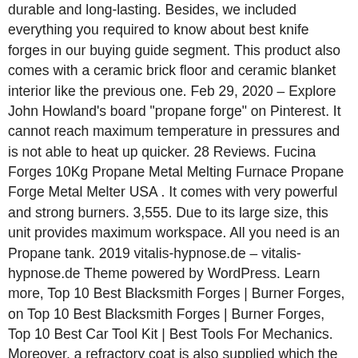durable and long-lasting. Besides, we included everything you required to know about best knife forges in our buying guide segment. This product also comes with a ceramic brick floor and ceramic blanket interior like the previous one. Feb 29, 2020 - Explore John Howland's board "propane forge" on Pinterest. It cannot reach maximum temperature in pressures and is not able to heat up quicker. 28 Reviews. Fucina Forges 10Kg Propane Metal Melting Furnace Propane Forge Metal Melter USA . It comes with very powerful and strong burners. 3,555. Due to its large size, this unit provides maximum workspace. All you need is an Propane tank. 2019 vitalis-hypnose.de - vitalis-hypnose.de Theme powered by WordPress. Learn more, Top 10 Best Blacksmith Forges | Burner Forges, on Top 10 Best Blacksmith Forges | Burner Forges, Top 10 Best Car Tool Kit | Best Tools For Mechanics. Moreover, a refractory coat is also supplied which the customer can apply based...